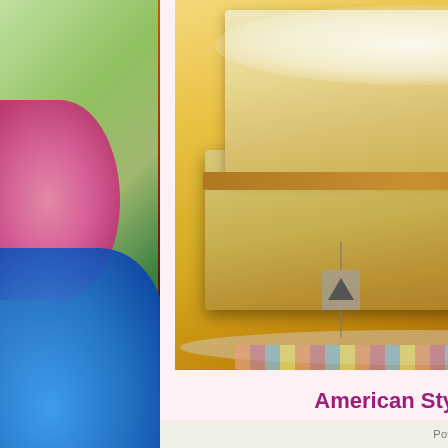[Figure (photo): Photo of stacked lemon bars with powdered sugar on top, golden shortbread crust, light yellow lemon filling, stacked on a decorative plate]
American Style Bars!
One word: "YUM!" The bars you can order from Heidi's Cakery range from light and fluffy Lemon Delights to rich and dense Double Chocolate Brownies! These are perfect to take to an office meeting, a simple get-together, or just to have for dessert with your family! Remember to order enough...people will want more than one because
"It Tastes Like More!"